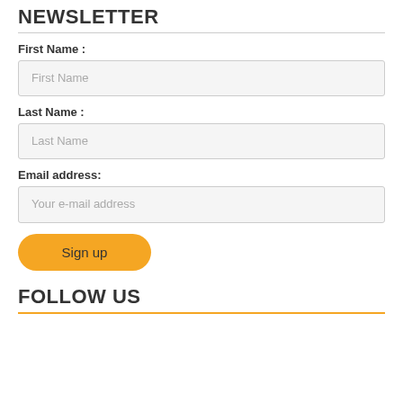NEWSLETTER
First Name :
First Name
Last Name :
Last Name
Email address:
Your e-mail address
Sign up
FOLLOW US